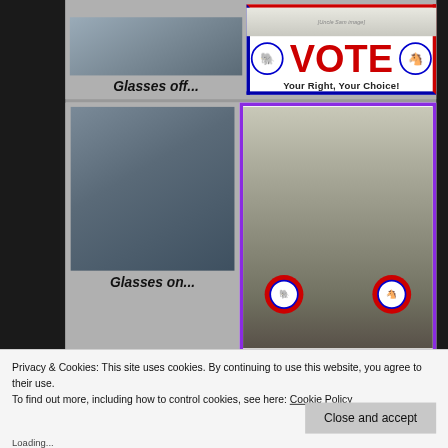[Figure (screenshot): Screenshot of a webpage showing a two-panel political meme image. Top-left: photo of a man without sunglasses with caption 'Glasses off...'. Top-right: political VOTE card with elephant and donkey symbols reading 'VOTE - Your Right, Your Choice!'. Bottom-left: same man with dark sunglasses with caption 'Glasses on...'. Bottom-right: figure of a creature in a goat mask and boxing gloves with Republican and Democrat symbols on gloves, framed in purple border.]
Glasses off...
VOTE
Your Right, Your Choice!
Glasses on...
Privacy & Cookies: This site uses cookies. By continuing to use this website, you agree to their use.
To find out more, including how to control cookies, see here: Cookie Policy
Close and accept
Loading...